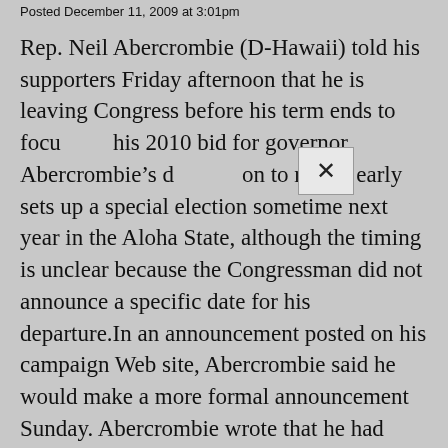Posted December 11, 2009 at 3:01pm
Rep. Neil Abercrombie (D-Hawaii) told his supporters Friday afternoon that he is leaving Congress before his term ends to focus his 2010 bid for governor. Abercrombie's decision to resign early sets up a special election sometime next year in the Aloha State, although the timing is unclear because the Congressman did not announce a specific date for his departure.In an announcement posted on his campaign Web site, Abercrombie said he would make a more formal announcement Sunday. Abercrombie wrote that he had shared his decision with the White House, Sen. Daniel Inouye (D-Hawaii), Sen. Daniel Akaka (D-Hawaii), Rep. Mazie Hirono (D-Hawaii), Speaker Nancy Pelosi (D-Calif.) and other leaders